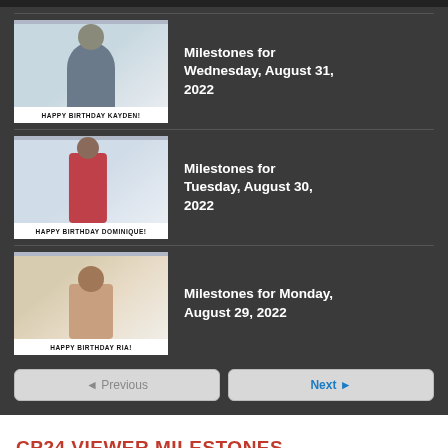[Figure (screenshot): Thumbnail image of a person, with caption HAPPY BIRTHDAY KAYDEN!]
Milestones for Wednesday, August 31, 2022
[Figure (screenshot): Thumbnail image of a person in red dress, with caption HAPPY BIRTHDAY DOMINIQUE!]
Milestones for Tuesday, August 30, 2022
[Figure (screenshot): Thumbnail image of a child, with caption HAPPY BIRTHDAY RIA!]
Milestones for Monday, August 29, 2022
◄ Previous
Next ►
CP24 VIEWER MILESTONES